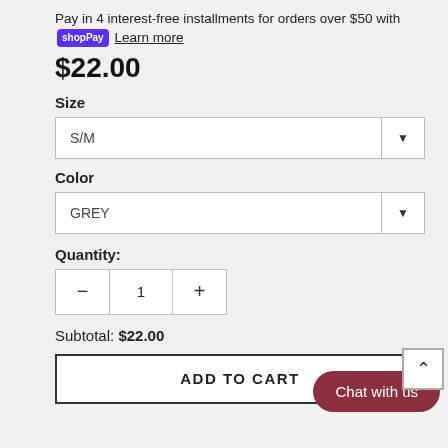Pay in 4 interest-free installments for orders over $50 with shopPay Learn more
$22.00
Size
S/M
Color
GREY
Quantity:
1
Subtotal: $22.00
ADD TO CART
Chat with us